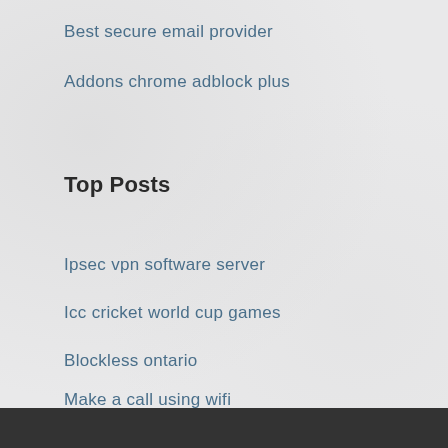Best secure email provider
Addons chrome adblock plus
Top Posts
Ipsec vpn software server
Icc cricket world cup games
Blockless ontario
Make a call using wifi
Set up vpn on ubuntu